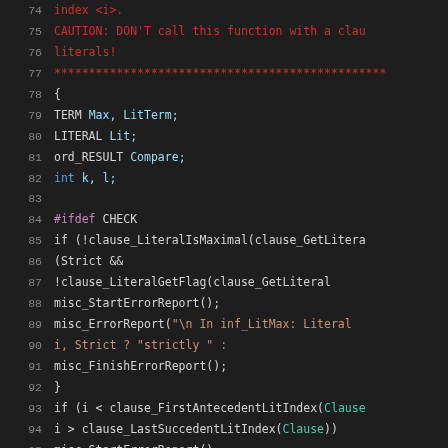Source code listing lines 74-95, showing C/Pascal-style code with syntax highlighting. Includes variable declarations (TERM, LITERAL, ord_RESULT, int), preprocessor directive #ifdef CHECK, and function calls like clause_LiteralIsMaximal, clause_LiteralGetFlag, misc_StartErrorReport, misc_ErrorReport, misc_FinishErrorReport, clause_FirstAntecedentLitIndex, clause_LastSuccedentLitIndex.